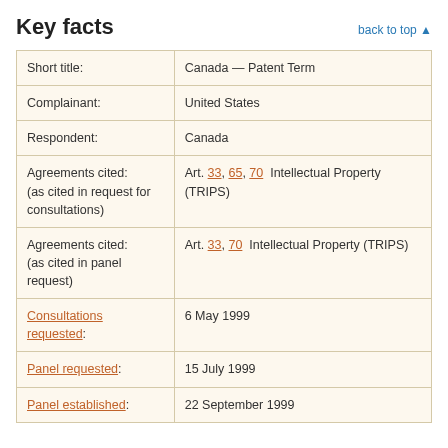Key facts
| Field | Value |
| --- | --- |
| Short title: | Canada — Patent Term |
| Complainant: | United States |
| Respondent: | Canada |
| Agreements cited: (as cited in request for consultations) | Art. 33, 65, 70  Intellectual Property (TRIPS) |
| Agreements cited: (as cited in panel request) | Art. 33, 70  Intellectual Property (TRIPS) |
| Consultations requested: | 6 May 1999 |
| Panel requested: | 15 July 1999 |
| Panel established: | 22 September 1999 |